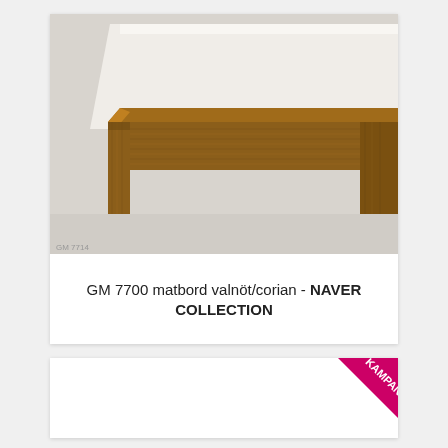[Figure (photo): Close-up photo of a dining table GM 7700 with walnut wood frame and white Corian top surface, showing corner detail. Small label 'GM 7714' in lower left of image.]
GM 7700 matbord valnöt/corian - NAVER COLLECTION
[Figure (other): Second product card (bottom), mostly white, with KAMPANJI! badge in top-right corner.]